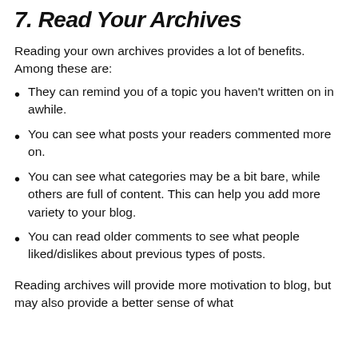7. Read Your Archives
Reading your own archives provides a lot of benefits. Among these are:
They can remind you of a topic you haven't written on in awhile.
You can see what posts your readers commented more on.
You can see what categories may be a bit bare, while others are full of content. This can help you add more variety to your blog.
You can read older comments to see what people liked/dislikes about previous types of posts.
Reading archives will provide more motivation to blog, but may also provide a better sense of what